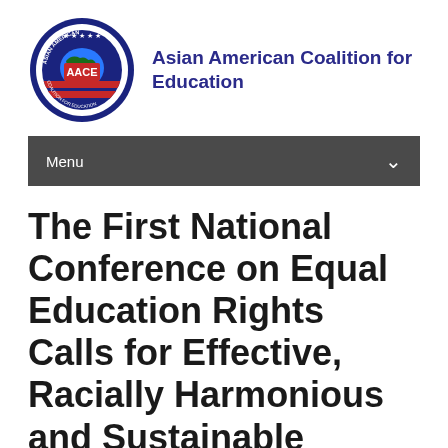[Figure (logo): AACE circular logo with text 'Asian American Coalition for Education', red, white, blue and dark blue coloring]
Asian American Coalition for Education
Menu
The First National Conference on Equal Education Rights Calls for Effective, Racially Harmonious and Sustainable Policies to Eliminate Anti-Asian Discrimination and To Enhance Racial Diversity in Higher